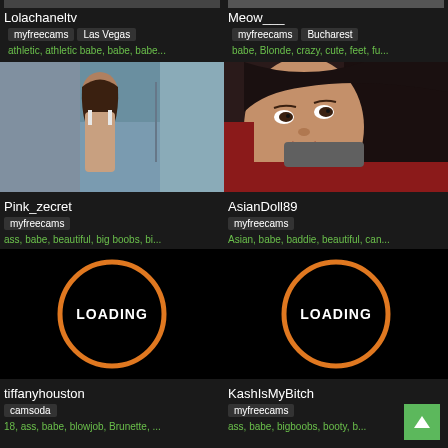Lolachaneltv
myfreecams  Las Vegas
athletic, athletic babe, babe, babe...
Meow___
myfreecams  Bucharest
babe, Blonde, crazy, cute, feet, fu...
[Figure (photo): Woman with long brown hair seen from behind in a room]
Pink_zecret
myfreecams
ass, babe, beautiful, big boobs, bi...
[Figure (photo): Asian woman close-up face photo]
AsianDoll89
myfreecams
Asian, babe, baddie, beautiful, can...
[Figure (other): Loading screen with orange circle and LOADING text]
tiffanyhouston
camsoda
18, ass, babe, blowjob, Brunette, ...
[Figure (other): Loading screen with orange circle and LOADING text]
KashIsMyBitch
myfreecams
ass, babe, bigboobs, booty, b...